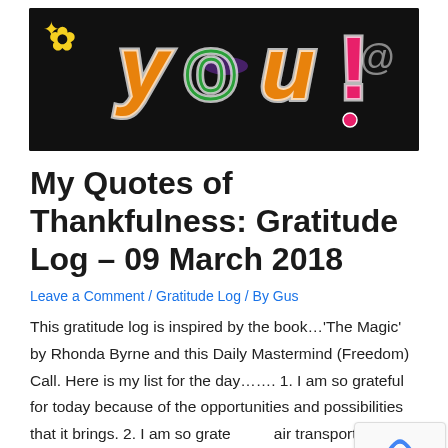[Figure (photo): Colorful 'thank you!' text art on a black background with decorative letters in orange, green, purple, yellow and pink]
My Quotes of Thankfulness: Gratitude Log – 09 March 2018
Leave a Comment / Gratitude Log / By Gus
This gratitude log is inspired by the book…'The Magic' by Rhonda Byrne and this Daily Mastermind (Freedom) Call. Here is my list for the day……. 1. I am so grateful for today because of the opportunities and possibilities that it brings. 2. I am so grate air transportation because it makes it possible to …